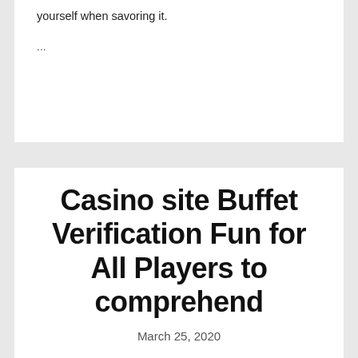yourself when savoring it.
...
Casino site Buffet Verification Fun for All Players to comprehend
March 25, 2020
The dream work for certain, Americans would be that of a